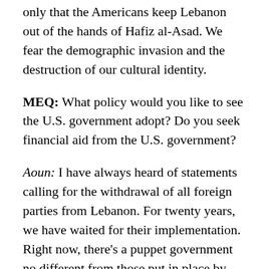only that the Americans keep Lebanon out of the hands of Hafiz al-Asad. We fear the demographic invasion and the destruction of our cultural identity.
MEQ: What policy would you like to see the U.S. government adopt? Do you seek financial aid from the U.S. government?
Aoun: I have always heard of statements calling for the withdrawal of all foreign parties from Lebanon. For twenty years, we have waited for their implementation. Right now, there's a puppet government no different from those put in place by Hitler in occupied Europe.
MEQ: What specifically do you want of Washington?